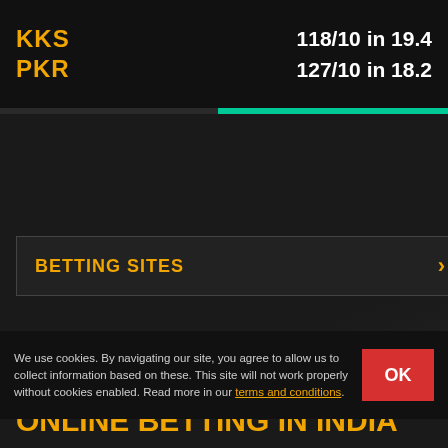KKS
PKR
118/10 in 19.4
127/10 in 18.2
BETTING SITES
ONLINE BETTING IN INDIA
Betting and gambling has been a favorite past time of many Indians over the years, and with the massive growth of the internet, now you can also experience online betting in India.
We use cookies. By navigating our site, you agree to allow us to collect information based on these. This site will not work properly without cookies enabled. Read more in our terms and conditions.